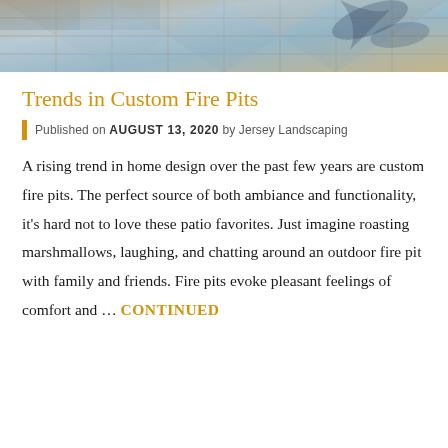[Figure (photo): Top portion of an outdoor patio/tile area with stone tiles in beige and blue-grey tones, with shadows of foliage visible]
Trends in Custom Fire Pits
Published on AUGUST 13, 2020 by Jersey Landscaping
A rising trend in home design over the past few years are custom fire pits. The perfect source of both ambiance and functionality, it's hard not to love these patio favorites. Just imagine roasting marshmallows, laughing, and chatting around an outdoor fire pit with family and friends. Fire pits evoke pleasant feelings of comfort and … CONTINUED